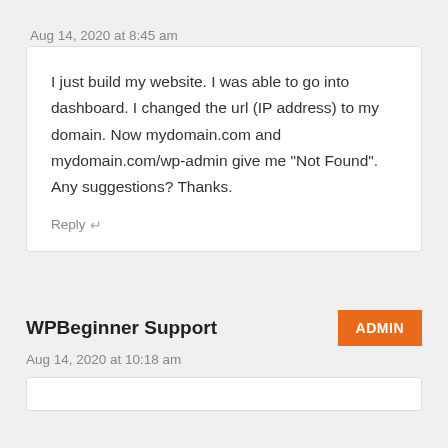Aug 14, 2020 at 8:45 am
I just build my website. I was able to go into dashboard. I changed the url (IP address) to my domain. Now mydomain.com and mydomain.com/wp-admin give me “Not Found”.
Any suggestions? Thanks.
Reply
WPBeginner Support
Aug 14, 2020 at 10:18 am